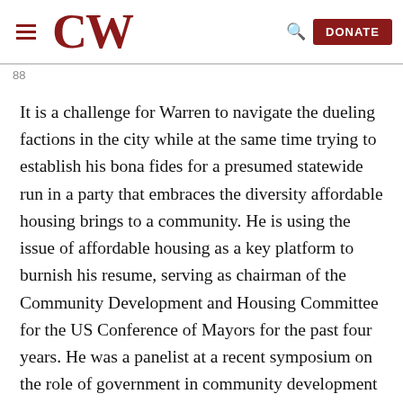CW | DONATE
88
It is a challenge for Warren to navigate the dueling factions in the city while at the same time trying to establish his bona fides for a presumed statewide run in a party that embraces the diversity affordable housing brings to a community. He is using the issue of affordable housing as a key platform to burnish his resume, serving as chairman of the Community Development and Housing Committee for the US Conference of Mayors for the past four years. He was a panelist at a recent symposium on the role of government in community development and housing at the Brookings Institution in Washington. His success—